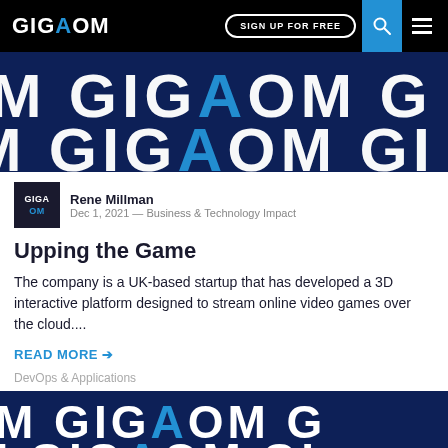GIGAOM — SIGN UP FOR FREE
[Figure (illustration): GigaOm branded banner with repeating GIGAOM text in white and blue on dark navy background]
Rene Millman
Dec 1, 2021 — Business & Technology Impact
Upping the Game
The company is a UK-based startup that has developed a 3D interactive platform designed to stream online video games over the cloud....
READ MORE →
DevOps & Applications
[Figure (illustration): GigaOm branded banner with repeating GIGAOM text in white and blue on dark navy background, partial view at bottom of page]